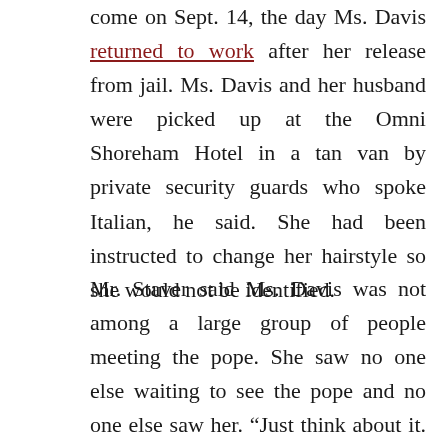come on Sept. 14, the day Ms. Davis returned to work after her release from jail. Ms. Davis and her husband were picked up at the Omni Shoreham Hotel in a tan van by private security guards who spoke Italian, he said. She had been instructed to change her hairstyle so she would not be identified.
Mr. Staver said Ms. Davis was not among a large group of people meeting the pope. She saw no one else waiting to see the pope and no one else saw her. “Just think about it. If she was in a line, there is no way